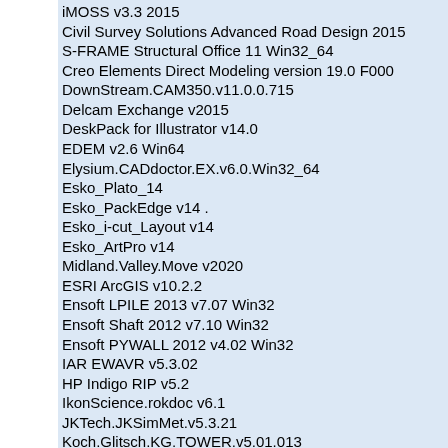iMOSS v3.3 2015
Civil Survey Solutions Advanced Road Design 2015
S-FRAME Structural Office 11 Win32_64
Creo Elements Direct Modeling version 19.0 F000
DownStream.CAM350.v11.0.0.715
Delcam Exchange v2015
DeskPack for Illustrator v14.0
EDEM v2.6 Win64
Elysium.CADdoctor.EX.v6.0.Win32_64
Esko_Plato_14
Esko_PackEdge v14 .
Esko_i-cut_Layout v14
Esko_ArtPro v14
Midland.Valley.Move v2020
ESRI ArcGIS v10.2.2
Ensoft LPILE 2013 v7.07 Win32
Ensoft Shaft 2012 v7.10 Win32
Ensoft PYWALL 2012 v4.02 Win32
IAR EWAVR v5.3.02
HP Indigo RIP v5.2
IkonScience.rokdoc v6.1
JKTech.JKSimMet.v5.3.21
Koch.Glitsch.KG.TOWER.v5.01.013
Latitude Geographics Geocortex Essentials v4.1.3
LESA v9.7